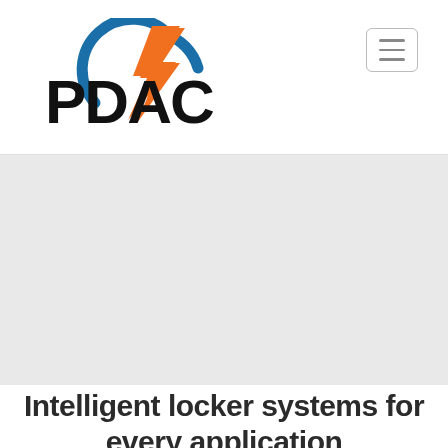PDAC logo and navigation
[Figure (logo): PDAC logo with blue arc and orange lightning bolt shape, bold black text 'PDAC']
[Figure (other): Hamburger menu button icon with three horizontal lines inside a rounded rectangle border]
[Figure (photo): Large light gray hero image placeholder area]
Intelligent locker systems for every application